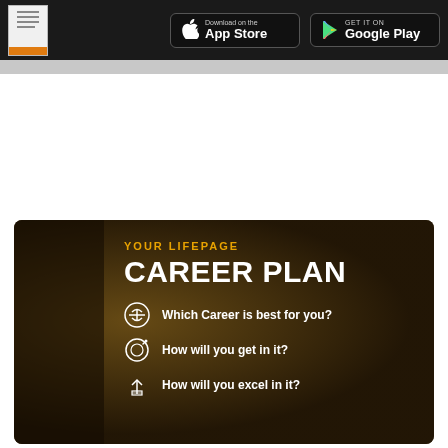App Store | Google Play — LifePage navigation bar
[Figure (infographic): LifePage Career Plan promotional card with dark background. Shows 'YOUR LIFEPAGE' in gold, 'CAREER PLAN' in large white bold text, and three bullet items with icons: 'Which Career is best for you?', 'How will you get in it?', 'How will you excel in it?']